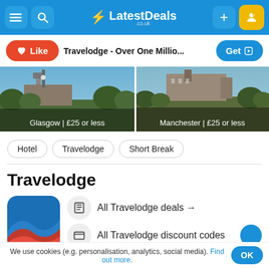[Figure (screenshot): LatestDeals.co.uk navigation bar with hamburger menu, search icon, logo with lightning bolt, plus button, and user button]
[Figure (screenshot): Action bar with Like button, deal title 'Travelodge - Over One Millio...', and Get button]
[Figure (photo): Two city hotel photos side by side: Glasgow | £25 or less and Manchester | £25 or less]
Hotel
Travelodge
Short Break
Travelodge
All Travelodge deals →
All Travelodge discount codes
We use cookies (e.g. personalisation, analytics, social media). Find out more.